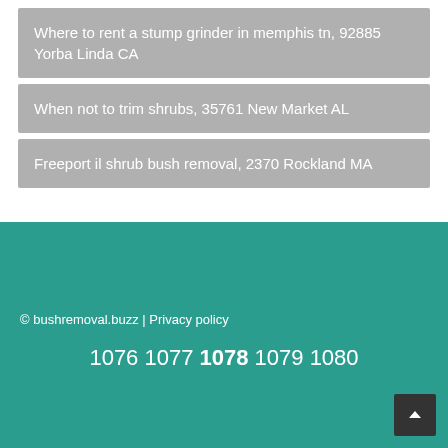Where to rent a stump grinder in memphis tn, 92885 Yorba Linda CA
When not to trim shrubs, 35761 New Market AL
Freeport il shrub bush removal, 2370 Rockland MA
© bushremoval.buzz | Privacy policy
1076 1077 1078 1079 1080